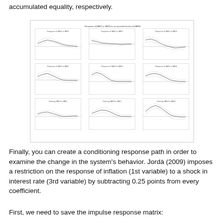accumulated equality, respectively.
[Figure (continuous-plot): 3x3 grid of impulse response function plots, each showing multiple lines (point estimate and confidence bands) over time horizons. The overall title reads 'Response of [variable] to [variable] to [variable] of accumulated [variable]'. Each subplot is labeled 'Response of [VARn] to [VARm]' with axes showing time periods on x-axis and response magnitude on y-axis.]
Finally, you can create a conditioning response path in order to examine the change in the system's behavior. Jordà (2009) imposes a restriction on the response of inflation (1st variable) to a shock in interest rate (3rd variable) by subtracting 0.25 points from every coefficient.
First, we need to save the impulse response matrix: